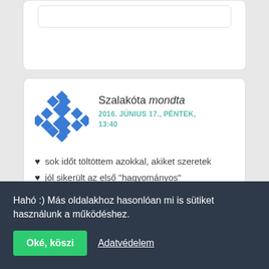[Figure (screenshot): Partial top card UI element, white rounded card with inner white rounded rectangle, partially visible at top of page]
Szalakóta mondta
2016. JÚNIUS 17., PÉNTEK, 13:40
♥ sok időt töltöttem azokkal, akiket szeretek
♥ jól sikerült az első "hagyományos"
Hahó :) Más oldalakhoz hasonlóan mi is sütiket használunk a működéshez.
Oké, köszi
Adatvédelem